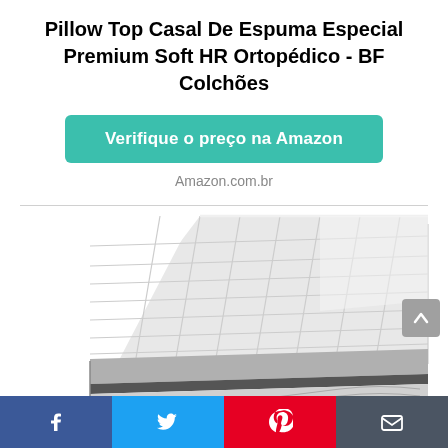Pillow Top Casal De Espuma Especial Premium Soft HR Ortopédico - BF Colchões
Verifique o preço na Amazon
Amazon.com.br
[Figure (photo): Product photo of a white quilted mattress topper (pillow top) shown at an angle, featuring stitched parallel lines across the surface and a gray/dark piped border edge, photographed against a white background.]
Social share buttons: Facebook, Twitter, Pinterest, Email